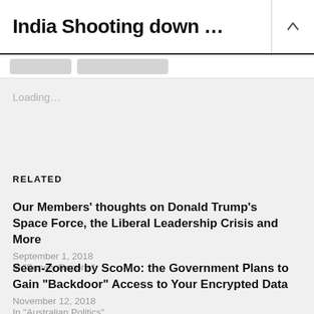India Shooting down …
Loading…
RELATED
Our Members' thoughts on Donald Trump's Space Force, the Liberal Leadership Crisis and More
September 1, 2018
In "Survey Reports"
Seen-Zoned by ScoMo: the Government Plans to Gain "Backdoor" Access to Your Encrypted Data
November 12, 2018
In "Australian Politics"